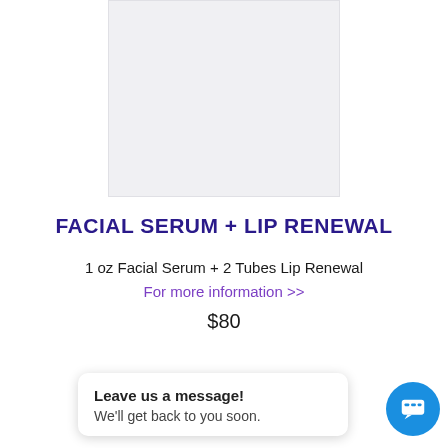[Figure (photo): Product image placeholder — light gray rectangle]
FACIAL SERUM + LIP RENEWAL
1 oz Facial Serum + 2 Tubes Lip Renewal
For more information >>
$80
[Figure (screenshot): Quantity input box showing '1' and a dark purple Add to Cart button]
Leave us a message! We'll get back to you soon.